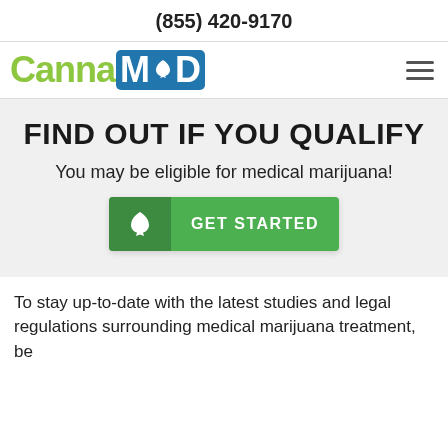(855) 420-9170
[Figure (logo): CannaMD logo with green 'Canna' text and blue 'MD' block with cannabis leaf icon]
FIND OUT IF YOU QUALIFY
You may be eligible for medical marijuana!
[Figure (other): Green 'GET STARTED' call-to-action button with cannabis leaf icon on left]
To stay up-to-date with the latest studies and legal regulations surrounding medical marijuana treatment, be